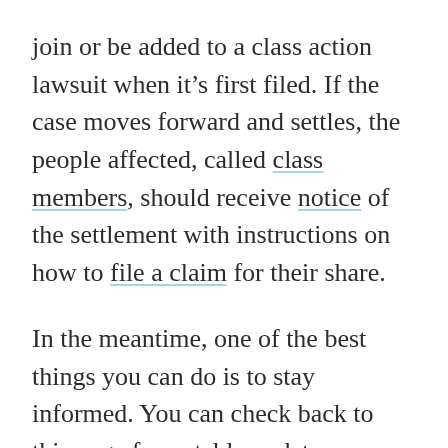join or be added to a class action lawsuit when it's first filed. If the case moves forward and settles, the people affected, called class members, should receive notice of the settlement with instructions on how to file a claim for their share.
In the meantime, one of the best things you can do is to stay informed. You can check back to this page for notable updates.
An even easier way to stay in the loop is to get class action news and settlement